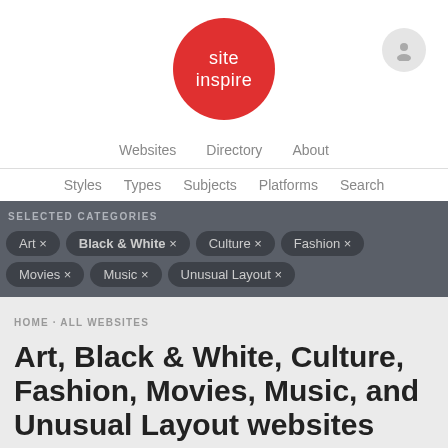[Figure (logo): SiteInspire logo: red circle with white text 'site inspire']
Websites   Directory   About
Styles   Types   Subjects   Platforms   Search
SELECTED CATEGORIES
Art ×
Black & White ×
Culture ×
Fashion ×
Movies ×
Music ×
Unusual Layout ×
HOME · ALL WEBSITES
Art, Black & White, Culture, Fashion, Movies, Music, and Unusual Layout websites